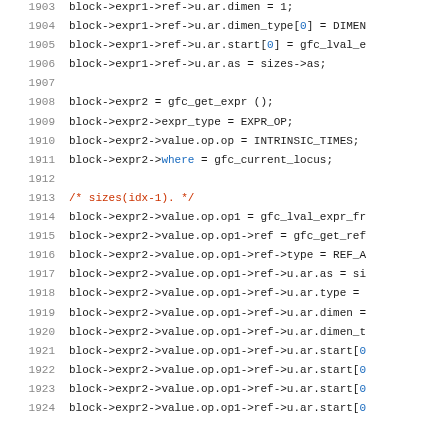Source code listing, lines 1903-1924
1903: block->expr1->ref->u.ar.dimen = 1;
1904: block->expr1->ref->u.ar.dimen_type[0] = DIMEN
1905: block->expr1->ref->u.ar.start[0] = gfc_lval_e
1906: block->expr1->ref->u.ar.as = sizes->as;
1907: (empty)
1908: block->expr2 = gfc_get_expr ();
1909: block->expr2->expr_type = EXPR_OP;
1910: block->expr2->value.op.op = INTRINSIC_TIMES;
1911: block->expr2->where = gfc_current_locus;
1912: (empty)
1913: /* sizes(idx-1).  */
1914: block->expr2->value.op.op1 = gfc_lval_expr_fr
1915: block->expr2->value.op.op1->ref = gfc_get_ref
1916: block->expr2->value.op.op1->ref->type = REF_A
1917: block->expr2->value.op.op1->ref->u.ar.as = si
1918: block->expr2->value.op.op1->ref->u.ar.type =
1919: block->expr2->value.op.op1->ref->u.ar.dimen =
1920: block->expr2->value.op.op1->ref->u.ar.dimen_t
1921: block->expr2->value.op.op1->ref->u.ar.start[0
1922: block->expr2->value.op.op1->ref->u.ar.start[0
1923: block->expr2->value.op.op1->ref->u.ar.start[0
1924: block->expr2->value.op.op1->ref->u.ar.start[0